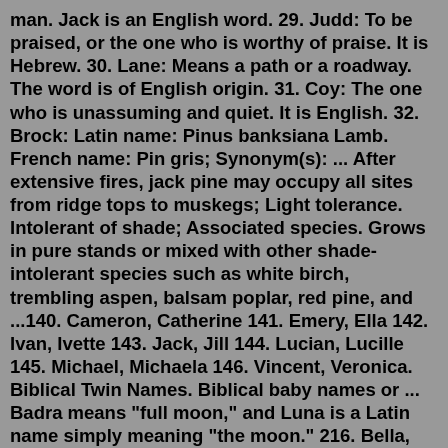man. Jack is an English word. 29. Judd: To be praised, or the one who is worthy of praise. It is Hebrew. 30. Lane: Means a path or a roadway. The word is of English origin. 31. Coy: The one who is unassuming and quiet. It is English. 32. Brock: Latin name: Pinus banksiana Lamb. French name: Pin gris; Synonym(s): ... After extensive fires, jack pine may occupy all sites from ridge tops to muskegs; Light tolerance. Intolerant of shade; Associated species. Grows in pure stands or mixed with other shade-intolerant species such as white birch, trembling aspen, balsam poplar, red pine, and ...140. Cameron, Catherine 141. Emery, Ella 142. Ivan, Ivette 143. Jack, Jill 144. Lucian, Lucille 145. Michael, Michaela 146. Vincent, Veronica. Biblical Twin Names. Biblical baby names or ... Badra means "full moon," and Luna is a Latin name simply meaning "the moon." 216. Bella, Linda. Mix a cool, modern name like Bella with a classic ...Dry earth; Dry. A flower name. Defender of men. A strong and famous warrior with a